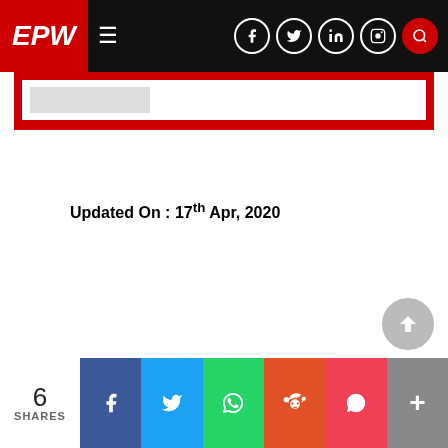EPW — Economic & Political Weekly navigation bar
Updated On : 17th Apr, 2020
6 SHARES — social share bar (Facebook, Twitter, WhatsApp, Reddit, Pocket, More)